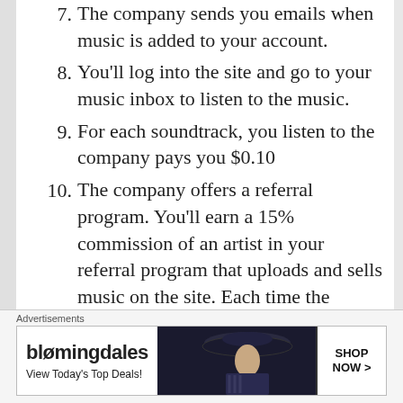7. The company sends you emails when music is added to your account.
8. You'll log into the site and go to your music inbox to listen to the music.
9. For each soundtrack, you listen to the company pays you $0.10
10. The company offers a referral program. You'll earn a 15% commission of an artist in your referral program that uploads and sells music on the site. Each time the person sells one of his songs on the site, you'll earn a commission from this sale. However, if you only have referrals in your account that just work on the site, you're not paid a percentage
[Figure (other): Bloomingdale's advertisement banner: 'bloomingdales — View Today's Top Deals!' with a woman wearing a wide-brim hat and a 'SHOP NOW >' button.]